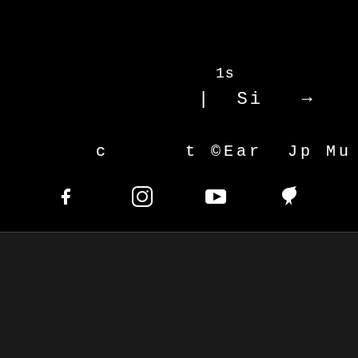[Figure (screenshot): Dark website footer section with partial/clipped white text fragments reading 'is', '| Si', cursor arrow icon, 't ©Ear Jp Mu : 2021', and social media icons (Facebook, Instagram, YouTube, bird/hummingbird icon)]
We use cookies on our website to give you the most relevant experience by remembering your preferences and repeat visits. By clicking “Accept”, you consent to the use of ALL the cookies.
Cookie settings
ACCEPT